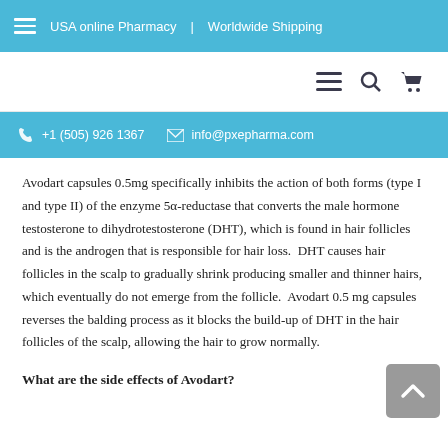USA online Pharmacy   Worldwide Shipping
+1 (505) 926 1367   info@pxepharma.com
Avodart capsules 0.5mg specifically inhibits the action of both forms (type I and type II) of the enzyme 5α-reductase that converts the male hormone testosterone to dihydrotestosterone (DHT), which is found in hair follicles and is the androgen that is responsible for hair loss.  DHT causes hair follicles in the scalp to gradually shrink producing smaller and thinner hairs, which eventually do not emerge from the follicle.  Avodart 0.5 mg capsules reverses the balding process as it blocks the build-up of DHT in the hair follicles of the scalp, allowing the hair to grow normally.
What are the side effects of Avodart?